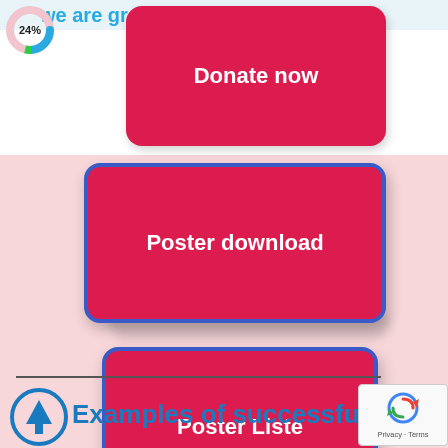[Figure (screenshot): Partial donut chart showing 24% with green indicator on pink/blue background]
we are gr...
Donate now
Poster download
Poster Liste
[Figure (screenshot): reCAPTCHA badge with spinning arrows icon and Privacy - Terms text]
Examples of successful